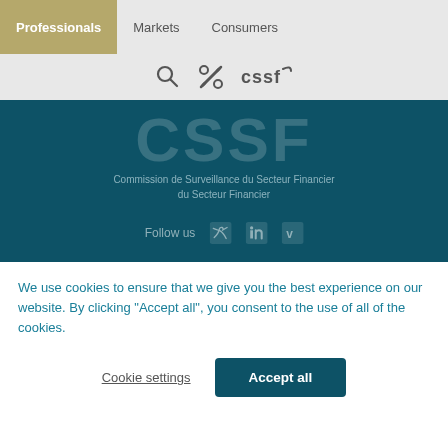Professionals | Markets | Consumers
[Figure (logo): CSSF logo with search, tools and cssf branding icons in navigation bar]
[Figure (logo): CSSF large watermark logo and Commission de Surveillance du Secteur Financier subtitle on teal background with Follow us social media icons (Twitter, LinkedIn, Vimeo)]
We use cookies to ensure that we give you the best experience on our website. By clicking “Accept all”, you consent to the use of all of the cookies.
Cookie settings | Accept all